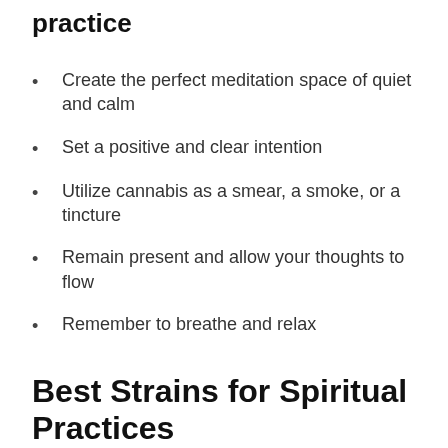practice
Create the perfect meditation space of quiet and calm
Set a positive and clear intention
Utilize cannabis as a smear, a smoke, or a tincture
Remain present and allow your thoughts to flow
Remember to breathe and relax
Best Strains for Spiritual Practices